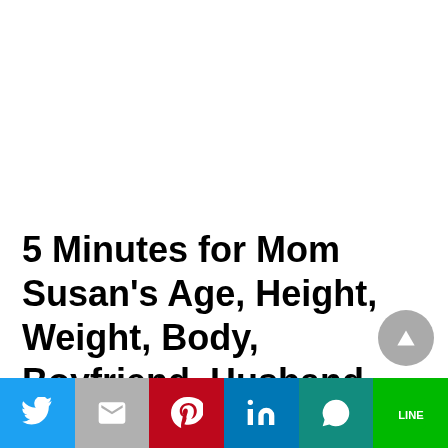5 Minutes for Mom Susan's Age, Height, Weight, Body, Boyfriend, Husband, Children, Caste, Religion, Net Worth,
[Figure (other): Social media share bar with Twitter, Gmail, Pinterest, LinkedIn, WhatsApp, and LINE buttons]